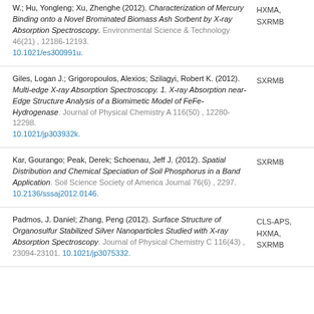W.; Hu, Yongleng; Xu, Zhenghe (2012). Characterization of Mercury Binding onto a Novel Brominated Biomass Ash Sorbent by X-ray Absorption Spectroscopy. Environmental Science & Technology 46(21) , 12186-12193. 10.1021/es300991u.
Giles, Logan J.; Grigoropoulos, Alexios; Szilagyi, Robert K. (2012). Multi-edge X-ray Absorption Spectroscopy. 1. X-ray Absorption near-Edge Structure Analysis of a Biomimetic Model of FeFe-Hydrogenase. Journal of Physical Chemistry A 116(50) , 12280-12298. 10.1021/jp303932k.
Kar, Gourango; Peak, Derek; Schoenau, Jeff J. (2012). Spatial Distribution and Chemical Speciation of Soil Phosphorus in a Band Application. Soil Science Society of America Journal 76(6) , 2297. 10.2136/sssaj2012.0146.
Padmos, J. Daniel; Zhang, Peng (2012). Surface Structure of Organosulfur Stabilized Silver Nanoparticles Studied with X-ray Absorption Spectroscopy. Journal of Physical Chemistry C 116(43) , 23094-23101. 10.1021/jp3075332.